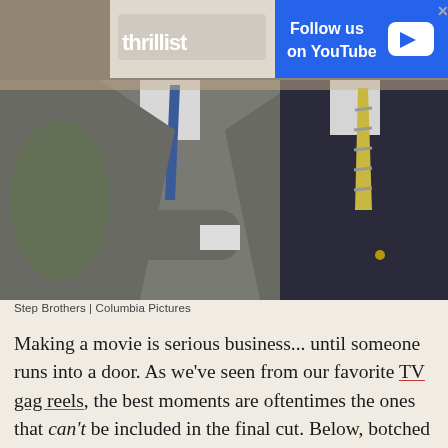[Figure (photo): Two men in suits and ties standing side by side. Left man in grey tweed jacket with blue tie, arms crossed. Right man in dark navy suit with yellow/grey striped tie. Ad banner overlay at top showing Thrillist logo and 'Follow us on YouTube' in blue.]
Step Brothers | Columbia Pictures
Making a movie is serious business... until someone runs into a door. As we've seen from our favorite TV gag reels, the best moments are oftentimes the ones that can't be included in the final cut. Below, botched lines, ruined takes, and pure absurdity picked up on the sets of your favorite movies.